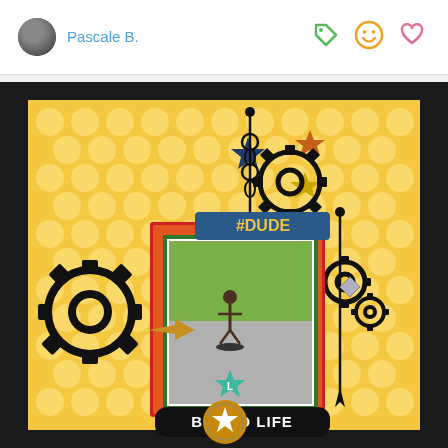Pascale B.
[Figure (photo): A scrapbook page with yellow polka-dot background on black mat. Center features a photo of a child skateboarding, surrounded by black steampunk gear decorations, star stickers in various colors (navy, orange, gold, teal), a '#DUDE' banner, a teal star with letter 'L', a gold glitter arrow, and a black banner reading 'BOARD LIFE'. A circular gold/brown embellishment with white star sits at bottom center.]